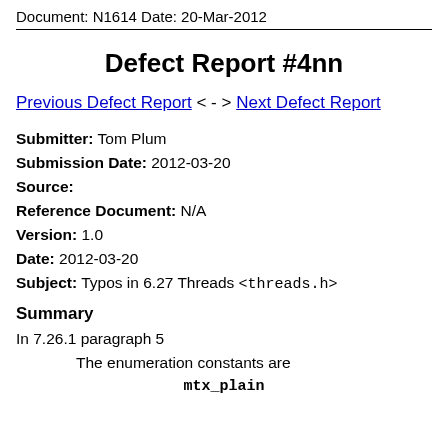Document: N1614 Date: 20-Mar-2012
Defect Report #4nn
Previous Defect Report < - > Next Defect Report
Submitter: Tom Plum
Submission Date: 2012-03-20
Source:
Reference Document: N/A
Version: 1.0
Date: 2012-03-20
Subject: Typos in 6.27 Threads <threads.h>
Summary
In 7.26.1 paragraph 5
The enumeration constants are
mtx_plain